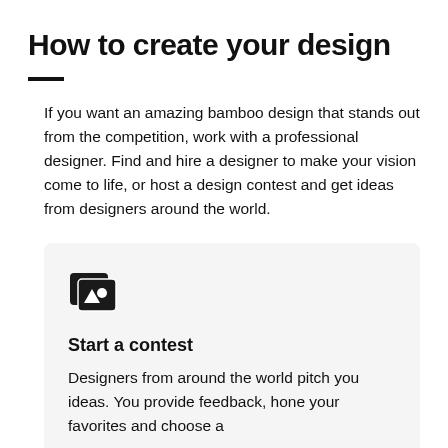How to create your design
If you want an amazing bamboo design that stands out from the competition, work with a professional designer. Find and hire a designer to make your vision come to life, or host a design contest and get ideas from designers around the world.
[Figure (illustration): Dark icon showing layered design/contest cards with a triangle and circle symbol]
Start a contest
Designers from around the world pitch you ideas. You provide feedback, hone your favorites and choose a